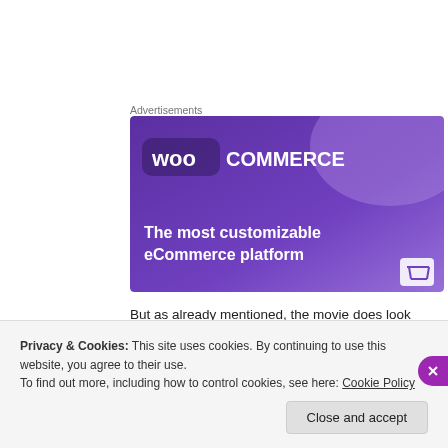Advertisements
[Figure (illustration): WooCommerce advertisement banner with purple gradient background, WooCommerce logo, and tagline 'The most customizable eCommerce platform']
But as already mentioned, the movie does look cool, thanks to Manuel Dacosse's sterling cinematography.
Privacy & Cookies: This site uses cookies. By continuing to use this website, you agree to their use.
To find out more, including how to control cookies, see here: Cookie Policy
Close and accept